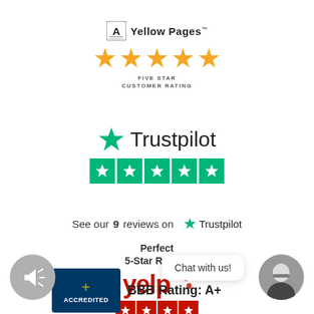[Figure (logo): Yellow Pages logo with five gold stars and text 'FIVE STAR CUSTOMER RATING']
[Figure (logo): Trustpilot logo with green star and five green star rating boxes]
See our 9 reviews on ★ Trustpilot
[Figure (logo): Yelp logo with text 'Perfect 5-Star Rating!' and red star rating boxes below]
[Figure (logo): BBB Accredited badge and BBB Rating: A+]
Chat with us!